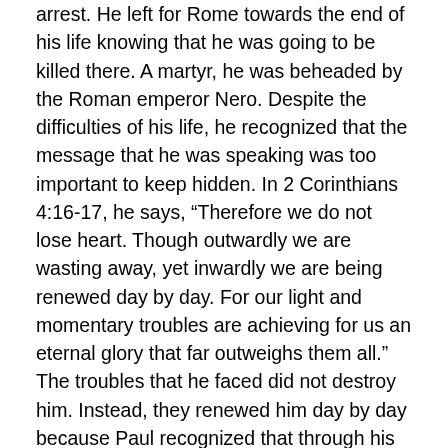arrest. He left for Rome towards the end of his life knowing that he was going to be killed there. A martyr, he was beheaded by the Roman emperor Nero. Despite the difficulties of his life, he recognized that the message that he was speaking was too important to keep hidden. In 2 Corinthians 4:16-17, he says, “Therefore we do not lose heart. Though outwardly we are wasting away, yet inwardly we are being renewed day by day. For our light and momentary troubles are achieving for us an eternal glory that far outweighs them all.” The troubles that he faced did not destroy him. Instead, they renewed him day by day because Paul recognized that through his troubles the gospel was being spread even more effectively!
So, how can we grow to have the same mentality as Paul? In verse 18, he says, “So we fix our eyes not on what is seen, but on what is unseen, since what is seen is